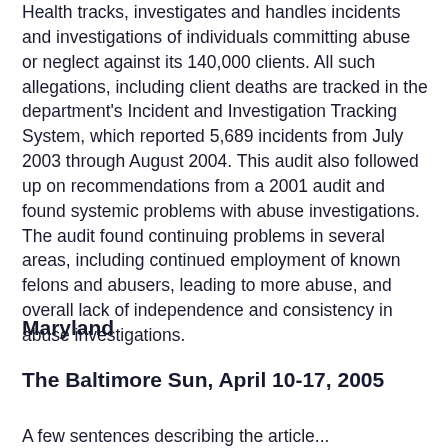Health tracks, investigates and handles incidents and investigations of individuals committing abuse or neglect against its 140,000 clients. All such allegations, including client deaths are tracked in the department's Incident and Investigation Tracking System, which reported 5,689 incidents from July 2003 through August 2004. This audit also followed up on recommendations from a 2001 audit and found systemic problems with abuse investigations. The audit found continuing problems in several areas, including continued employment of known felons and abusers, leading to more abuse, and overall lack of independence and consistency in abuse investigations.
Maryland
The Baltimore Sun, April 10-17, 2005
A few sentences describing the article...